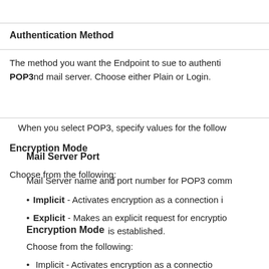Authentication Method
The method you want the Endpoint to sue to authenticate outbound mail server. Choose either Plain or Login.
When you select POP3, specify values for the following:
Encryption Mode
Mail Server Port
Choose from the following:
Mail Server name and port number for POP3 communication.
Implicit - Activates encryption as a connection is
Explicit - Makes an explicit request for encryption
Encryption Mode
is established.
Choose from the following:
Implicit - Activates encryption as a connection